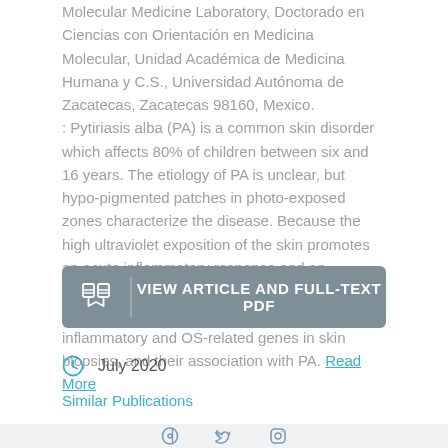Molecular Medicine Laboratory, Doctorado en Ciencias con Orientación en Medicina Molecular, Unidad Académica de Medicina Humana y C.S., Universidad Autónoma de Zacatecas, Zacatecas 98160, Mexico. : Pytiriasis alba (PA) is a common skin disorder which affects 80% of children between six and 16 years. The etiology of PA is unclear, but hypo-pigmented patches in photo-exposed zones characterize the disease. Because the high ultraviolet exposition of the skin promotes an acute inflammatory response and an increase of oxidative stress (OS), this study aimed to evaluate the expression levels of inflammatory and OS-related genes in skin biopsies, and their association with PA. Read More
[Figure (other): Button: VIEW ARTICLE AND FULL-TEXT PDF with book/document icon on left]
July 2020
Similar Publications